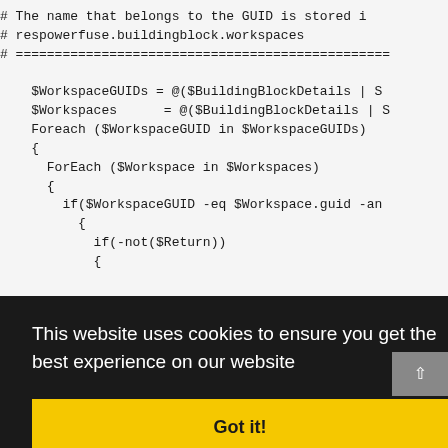# The name that belongs to the GUID is stored in respowerfuse.buildingblock.workspaces
# ====================================================================
$WorkspaceGUIDs = @($BuildingBlockDetails | S
$Workspaces      = @($BuildingBlockDetails | S
Foreach ($WorkspaceGUID in $WorkspaceGUIDs)
{
  ForEach ($Workspace in $Workspaces)
  {
    if($WorkspaceGUID -eq $Workspace.guid -an
      {
        if(-not($Return))
        {
[Figure (screenshot): Cookie consent overlay with black background reading 'This website uses cookies to ensure you get the best experience on our website' and a yellow 'Got it!' button]
$Return += "`n$authorizedWorkspace"